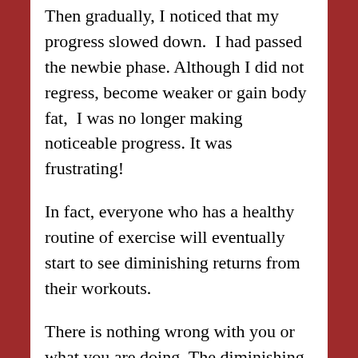Then gradually, I noticed that my progress slowed down.  I had passed the newbie phase. Although I did not regress, become weaker or gain body fat,  I was no longer making noticeable progress. It was frustrating!
In fact, everyone who has a healthy routine of exercise will eventually start to see diminishing returns from their workouts.
There is nothing wrong with you or what you are doing. The diminishing returns principle applies to exercise.